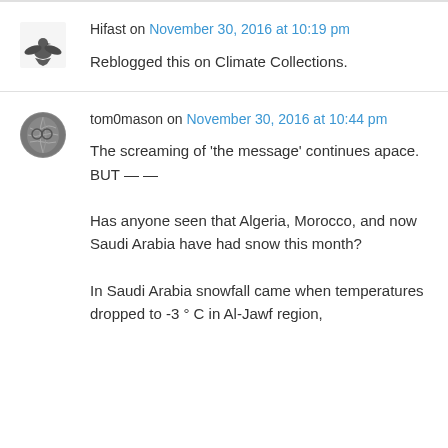Hifast on November 30, 2016 at 10:19 pm
Reblogged this on Climate Collections.
tom0mason on November 30, 2016 at 10:44 pm
The screaming of 'the message' continues apace.
BUT — —

Has anyone seen that Algeria, Morocco, and now Saudi Arabia have had snow this month?

In Saudi Arabia snowfall came when temperatures dropped to -3 ° C in Al-Jawf region,